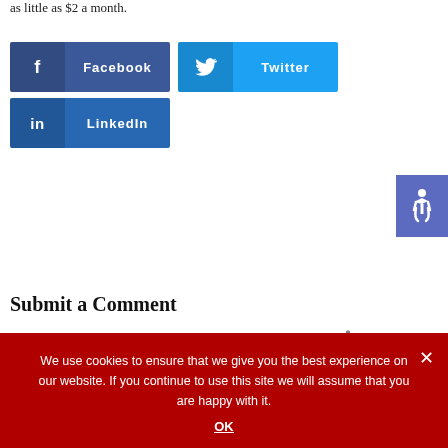as little as $2 a month.
[Figure (infographic): Three social media share buttons: Facebook (dark blue), Twitter (light blue), LinkedIn (medium blue), each with icon and label]
[Figure (infographic): Accessibility icon button (wheelchair symbol) in purple/indigo, positioned at right edge]
Submit a Comment
Your email address will not be published. Required fields are marked *
[Figure (screenshot): Scroll-to-top button (up arrow) in gray at right edge]
We use cookies to ensure that we give you the best experience on our website. If you continue to use this site we will assume that you are happy with it.
OK